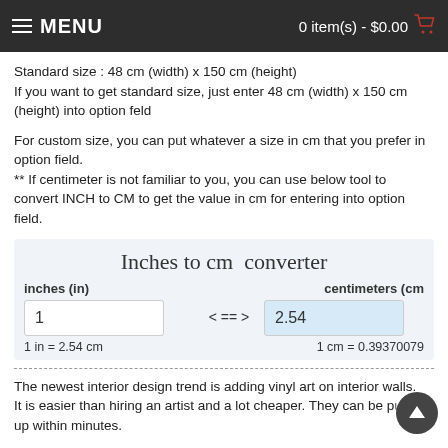MENU   0 item(s) - $0.00
Standard size : 48 cm (width) x 150 cm (height)
If you want to get standard size, just enter 48 cm (width) x 150 cm (height) into option feld
For custom size, you can put whatever a size in cm that you prefer in option field.
** If centimeter is not familiar to you, you can use below tool to convert INCH to CM to get the value in cm for entering into option field.
[Figure (infographic): Inches to cm converter widget showing input field with value 1, arrow symbol < == >, output value 2.54. Below: 1 in = 2.54 cm and 1 cm = 0.39370079...]
The newest interior design trend is adding vinyl art on interior walls.
It is easier than hiring an artist and a lot cheaper. They can be put up within minutes.